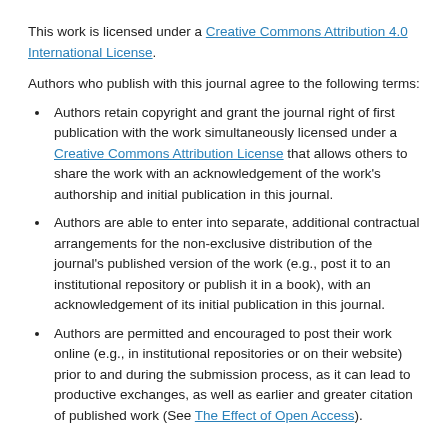This work is licensed under a Creative Commons Attribution 4.0 International License.
Authors who publish with this journal agree to the following terms:
Authors retain copyright and grant the journal right of first publication with the work simultaneously licensed under a Creative Commons Attribution License that allows others to share the work with an acknowledgement of the work's authorship and initial publication in this journal.
Authors are able to enter into separate, additional contractual arrangements for the non-exclusive distribution of the journal's published version of the work (e.g., post it to an institutional repository or publish it in a book), with an acknowledgement of its initial publication in this journal.
Authors are permitted and encouraged to post their work online (e.g., in institutional repositories or on their website) prior to and during the submission process, as it can lead to productive exchanges, as well as earlier and greater citation of published work (See The Effect of Open Access).